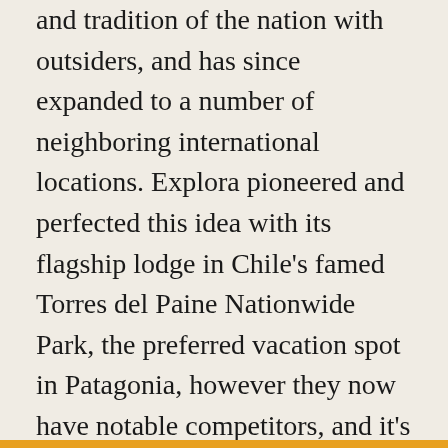and tradition of the nation with outsiders, and has since expanded to a number of neighboring international locations. Explora pioneered and perfected this idea with its flagship lodge in Chile's famed Torres del Paine Nationwide Park, the preferred vacation spot in Patagonia, however they now have notable competitors, and it's vacationers who profit as this pretty related mannequin spreads throughout one of the best lodge operators.
The mannequin begins with a comparatively small lodge constructed to very inexperienced requirements with eco-friendliness paramount. The lodge is then staffed by native guides knowledgeable within the area and its outside pursuits. At one of the best lodges, guides are full-